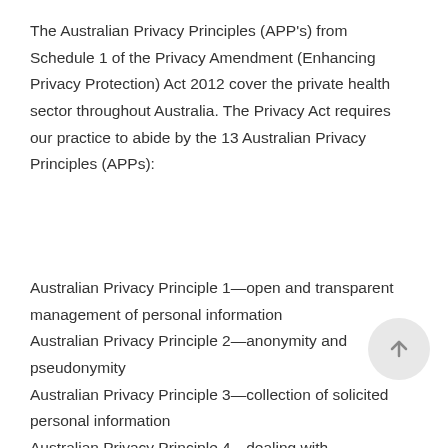The Australian Privacy Principles (APP’s) from Schedule 1 of the Privacy Amendment (Enhancing Privacy Protection) Act 2012 cover the private health sector throughout Australia. The Privacy Act requires our practice to abide by the 13 Australian Privacy Principles (APPs):
Australian Privacy Principle 1—open and transparent management of personal information
Australian Privacy Principle 2—anonymity and pseudonymity
Australian Privacy Principle 3—collection of solicited personal information
Australian Privacy Principle 4—dealing with unsolicited personal information
Australian Privacy Principle 5 – notification of the collection of personal information